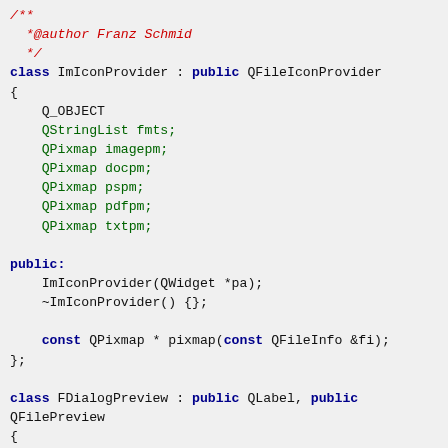/**
 *@author Franz Schmid
 */
class ImIconProvider : public QFileIconProvider
{
    Q_OBJECT
    QStringList fmts;
    QPixmap imagepm;
    QPixmap docpm;
    QPixmap pspm;
    QPixmap pdfpm;
    QPixmap txtpm;

public:
    ImIconProvider(QWidget *pa);
    ~ImIconProvider() {};

    const QPixmap * pixmap(const QFileInfo &fi);
};

class FDialogPreview : public QLabel, public
QFilePreview
{
    Q_OBJECT
public:
    FDialogPreview(QWidget *pa);
    ~FDialogPreview() {};